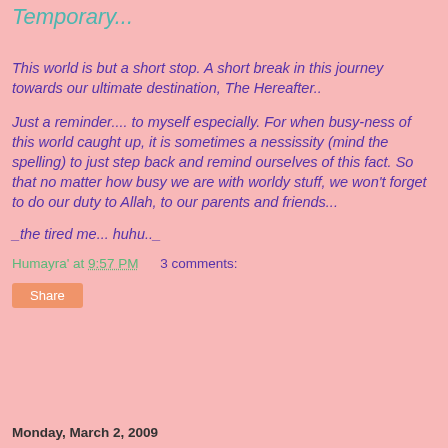Temporary...
This world is but a short stop.  A short break in this journey towards our ultimate destination, The Hereafter..
Just a reminder.... to myself especially.  For when busy-ness of this world caught up, it is sometimes a nessissity (mind the spelling) to just step back and remind ourselves of this fact.  So that no matter how busy we are with worldy stuff, we won't forget to do our duty to Allah, to our parents and friends...
_the tired me... huhu.._
Humayra' at 9:57 PM    3 comments:
Share
Monday, March 2, 2009